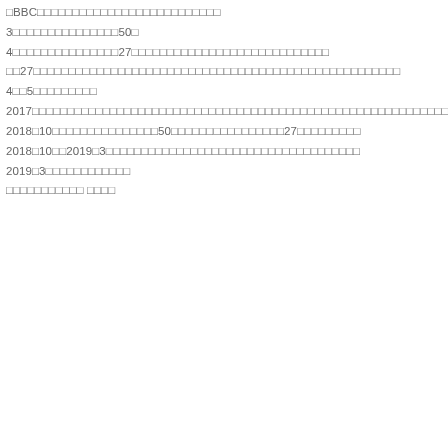□BBC□□□□□□□□□□□□□□□□□□□□□□□□□□
3□□□□□□□□□□□□□□□50□
4□□□□□□□□□□□□□□□27□□□□□□□□□□□□□□□□□□□□□□□□□□□□
□□27□□□□□□□□□□□□□□□□□□□□□□□□□□□□□□□□□□□□□□□□□□□□□□□□□□□□
4□□5□□□□□□□□□
2017□□□□□□□□□□□□□□□□□□□□□□□□□□□□□□□□□□□□□□□□□□□□□□□□□□□□□□□□□□□□□□
2018□10□□□□□□□□□□□□□□□50□□□□□□□□□□□□□□□□27□□□□□□□□□
2018□10□□2019□3□□□□□□□□□□□□□□□□□□□□□□□□□□□□□□□□□□□□
2019□3□□□□□□□□□□□□
□□□□□□□□□□□ □□□□